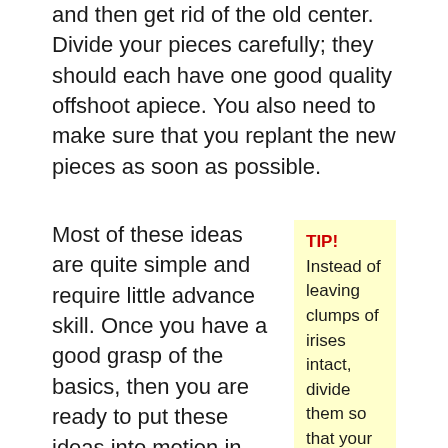and then get rid of the old center. Divide your pieces carefully; they should each have one good quality offshoot apiece. You also need to make sure that you replant the new pieces as soon as possible.
Most of these ideas are quite simple and require little advance skill. Once you have a good grasp of the basics, then you are ready to put these ideas into motion in your own garden. Pay attention to how your plants respond to the methods that you use. If you find that one thing does not work, you should try something
TIP! Instead of leaving clumps of irises intact, divide them so that your flowers can grow in a more healthy manner. Increase your iris population when you divide up overgrown clumps.